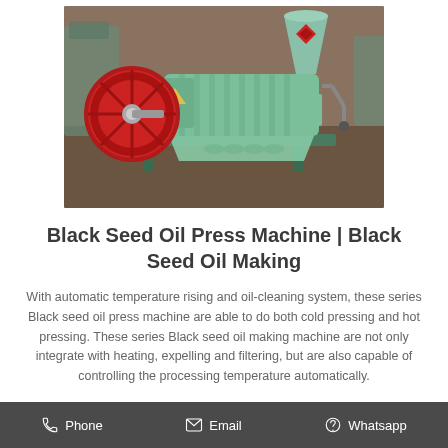[Figure (photo): Green industrial oil press machine with red flywheel, hopper funnel on top, and manual crank handle, displayed in a warehouse or factory setting.]
Black Seed Oil Press Machine | Black Seed Oil Making
With automatic temperature rising and oil-cleaning system, these series Black seed oil press machine are able to do both cold pressing and hot pressing. These series Black seed oil making machine are not only integrate with heating, expelling and filtering, but are also capable of controlling the processing temperature automatically.
Phone   Email   Whatsapp